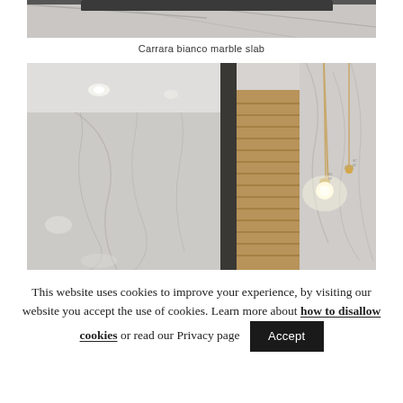[Figure (photo): Partial view of Carrara bianco marble slab, showing grey-veined white marble texture, cropped at top.]
Carrara bianco marble slab
[Figure (photo): Interior room with Carrara bianco marble walls, a wooden louvered door in the center, and two hanging pendant lights with glowing bulbs on the right side. Recessed ceiling lights visible on left.]
This website uses cookies to improve your experience, by visiting our website you accept the use of cookies. Learn more about how to disallow cookies or read our Privacy page
Accept